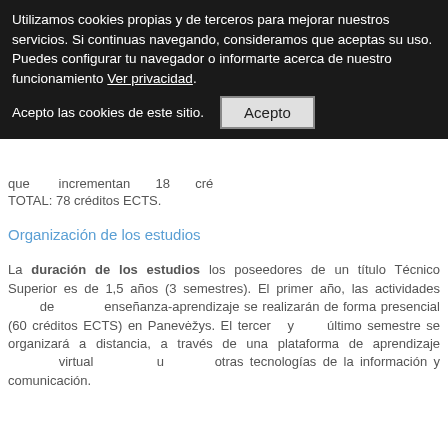Utilizamos cookies propias y de terceros para mejorar nuestros servicios. Si continuas navegando, consideramos que aceptas su uso. Puedes configurar tu navegador o informarte acerca de nuestro funcionamiento Ver privacidad.
Acepto las cookies de este sitio.
que incrementan 18 créditos TOTAL: 78 créditos ECTS.
Organización de los estudios
La duración de los estudios los poseedores de un título Técnico Superior es de 1,5 años (3 semestres). El primer año, las actividades de enseñanza-aprendizaje se realizarán de forma presencial (60 créditos ECTS) en Panevėžys. El tercer y último semestre se organizará a distancia, a través de una plataforma de aprendizaje virtual u otras tecnologías de la información y comunicación.